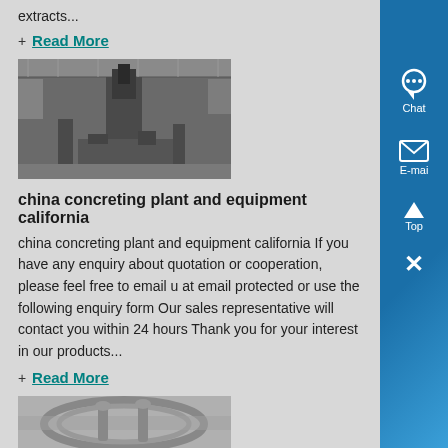extracts...
+ Read More
[Figure (photo): Industrial concrete plant equipment inside a large warehouse facility]
china concreting plant and equipment california
china concreting plant and equipment california If you have any enquiry about quotation or cooperation, please feel free to email us at email protected or use the following enquiry form Our sales representative will contact you within 24 hours Thank you for your interest in our products...
+ Read More
[Figure (photo): Industrial pipe equipment or machinery, partially visible at bottom of page]